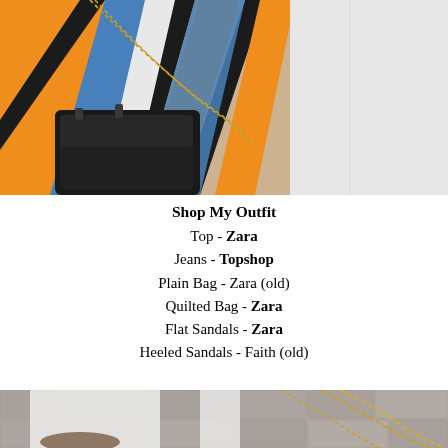[Figure (photo): Close-up photo of a person wearing a colorful diagonal stripe top (orange, blue, black, white stripes), white jeans, carrying a gold chain crossbody bag and a black structured handbag.]
Shop My Outfit
Top - Zara
Jeans - Topshop
Plain Bag - Zara (old)
Quilted Bag - Zara
Flat Sandals - Zara
Heeled Sandals - Faith (old)
[Figure (photo): Bottom portion of a photo showing white jeans and gold chain straps of a bag, with a stone/cobblestone background.]